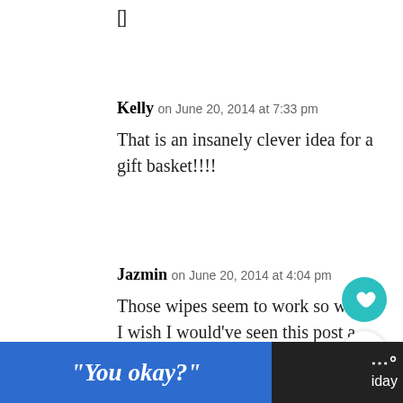[]
Kelly on June 20, 2014 at 7:33 pm
That is an insanely clever idea for a gift basket!!!!
Jazmin on June 20, 2014 at 4:04 pm
Those wipes seem to work so we'll I wish I would've seen this post a few weeks ago. My Fathe... just had a birthday and he is the...
“You okay?”
WHAT'S NEXT → Deck the Halls Teachers Gif...